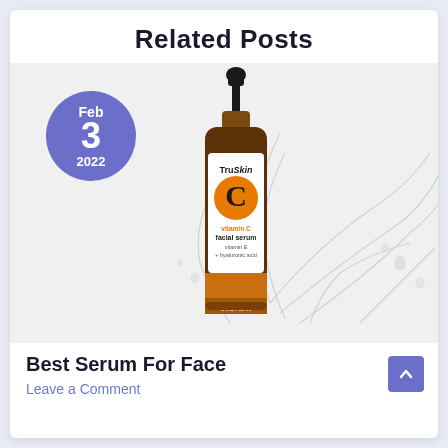Related Posts
[Figure (photo): TruSkin Vitamin C Facial Serum bottle with water splash background, with a purple circular date badge showing Feb 3 2022]
Best Serum For Face
Leave a Comment